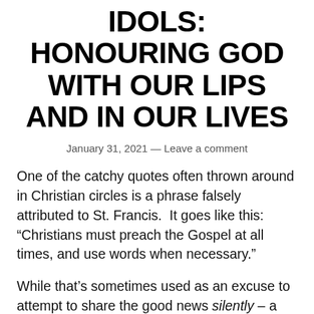IDOLS: HONOURING GOD WITH OUR LIPS AND IN OUR LIVES
January 31, 2021 — Leave a comment
One of the catchy quotes often thrown around in Christian circles is a phrase falsely attributed to St. Francis.  It goes like this: “Christians must preach the Gospel at all times, and use words when necessary.”
While that’s sometimes used as an excuse to attempt to share the good news silently – a dangerous justification to keep our mouths closed or talk ourselves out of why each and